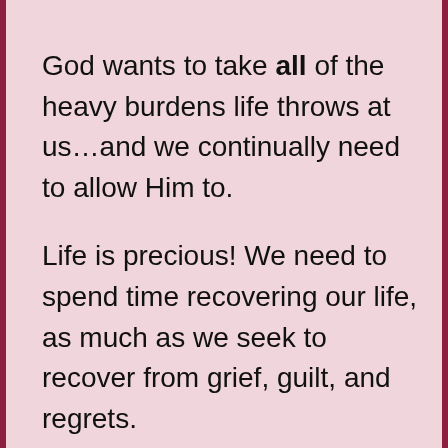God wants to take all of the heavy burdens life throws at us…and we continually need to allow Him to.

Life is precious! We need to spend time recovering our life, as much as we seek to recover from grief, guilt, and regrets.

I pray God truly and genuinely heals everybody's heart who is going through guilt and regrets.